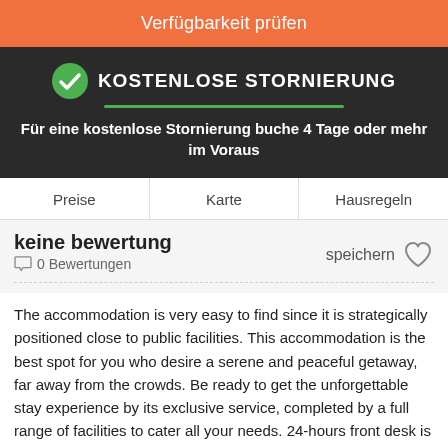Verfügbarkeit prüfen
KOSTENLOSE STORNIERUNG
Für eine kostenlose Stornierung buche 4 Tage oder mehr im Voraus
Preise | Karte | Hausregeln
keine bewertung
0 Bewertungen
speichern
The accommodation is very easy to find since it is strategically positioned close to public facilities. This accommodation is the best spot for you who desire a serene and peaceful getaway, far away from the crowds. Be ready to get the unforgettable stay experience by its exclusive service, completed by a full range of facilities to cater all your needs. 24-hours front desk is available to serve you, from check-in to check-out, or any assistance you need. Should you desire more, do not hesitate to ask the front desk, we are always ready to accommodate you.